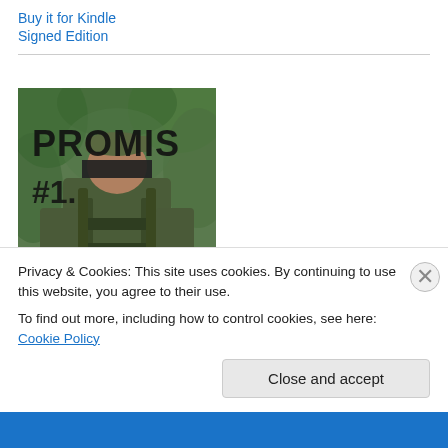Buy it for Kindle
Signed Edition
[Figure (photo): Book cover of PROMIS #1 — showing a soldier in full military gear and camouflage in a forest setting, with the title PROMIS in large black letters across the top and #1 at the lower left. The soldier's face is obscured/redacted with a dark bar.]
Privacy & Cookies: This site uses cookies. By continuing to use this website, you agree to their use.
To find out more, including how to control cookies, see here: Cookie Policy
Close and accept